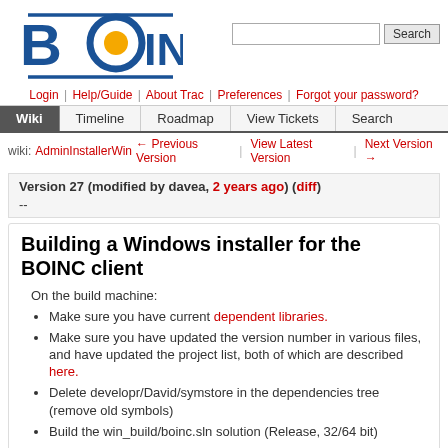[Figure (logo): BOINC logo with stylized B and yellow circle]
Login | Help/Guide | About Trac | Preferences | Forgot your password?
Wiki | Timeline | Roadmap | View Tickets | Search
wiki: AdminInstallerWin ← Previous Version | View Latest Version | Next Version →
Version 27 (modified by davea, 2 years ago) (diff)
--
Building a Windows installer for the BOINC client
On the build machine:
Make sure you have current dependent libraries.
Make sure you have updated the version number in various files, and have updated the project list, both of which are described here.
Delete developr/David/symstore in the dependencies tree (remove old symbols)
Build the win_build/boinc.sln solution (Release, 32/64 bit)
If custom actions have changed, copy boinccas.dll from win_build/Build/x64/Release to win_build/installer2/redist/Windows/x64 (and same for